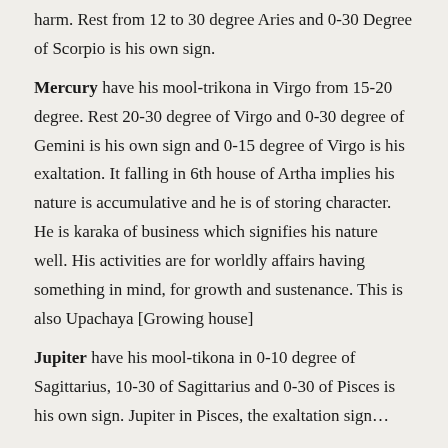harm. Rest from 12 to 30 degree Aries and 0-30 Degree of Scorpio is his own sign.
Mercury have his mool-trikona in Virgo from 15-20 degree. Rest 20-30 degree of Virgo and 0-30 degree of Gemini is his own sign and 0-15 degree of Virgo is his exaltation. It falling in 6th house of Artha implies his nature is accumulative and he is of storing character. He is karaka of business which signifies his nature well. His activities are for worldly affairs having something in mind, for growth and sustenance. This is also Upachaya [Growing house]
Jupiter have his mool-tikona in 0-10 degree of Sagittarius, 10-30 of Sagittarius and 0-30 of Pisces is his own sign. Jupiter in Pisces, the exaltation sign...